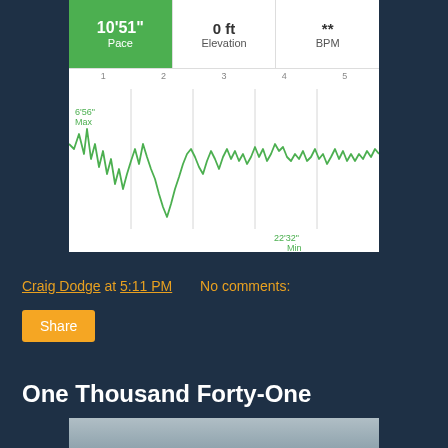[Figure (continuous-plot): Fitness app screenshot showing pace chart. Top stats: 10'51" Pace (green box), 0 ft Elevation, ** BPM. Below is a line chart of pace over distance (1-5 miles), with Max 6'56" and Min 22'32" labeled. The line is green and jagged, showing pace variation.]
Craig Dodge at 5:11 PM   No comments:
Share
One Thousand Forty-One
[Figure (photo): Partial photo visible at the bottom of the page, showing a grayish sky or landscape.]